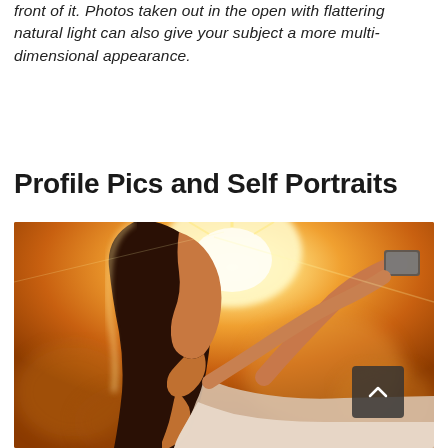front of it. Photos taken out in the open with flattering natural light can also give your subject a more multi-dimensional appearance.
Profile Pics and Self Portraits
[Figure (photo): A young woman taking a selfie outdoors in warm golden sunlight, photographed in profile against a bright glowing background with warm orange and golden tones.]